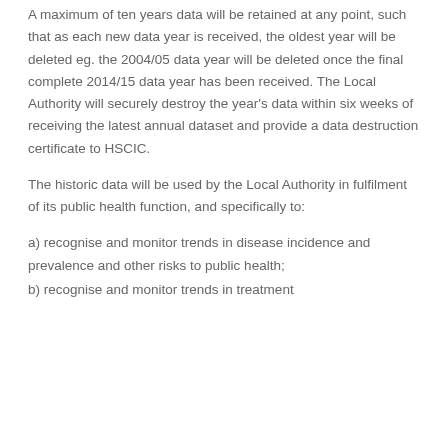A maximum of ten years data will be retained at any point, such that as each new data year is received, the oldest year will be deleted eg. the 2004/05 data year will be deleted once the final complete 2014/15 data year has been received. The Local Authority will securely destroy the year's data within six weeks of receiving the latest annual dataset and provide a data destruction certificate to HSCIC.
The historic data will be used by the Local Authority in fulfilment of its public health function, and specifically to:
a) recognise and monitor trends in disease incidence and prevalence and other risks to public health;
b) recognise and monitor trends in treatment